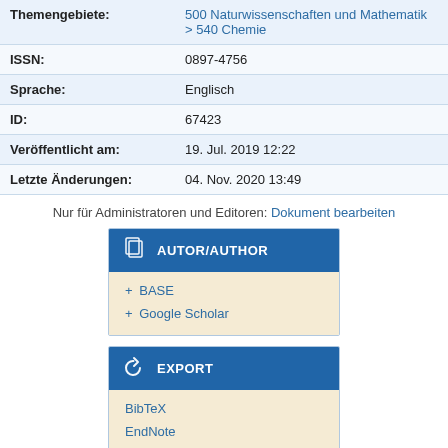| Field | Value |
| --- | --- |
| Themengebiete: | 500 Naturwissenschaften und Mathematik > 540 Chemie |
| ISSN: | 0897-4756 |
| Sprache: | Englisch |
| ID: | 67423 |
| Veröffentlicht am: | 19. Jul. 2019 12:22 |
| Letzte Änderungen: | 04. Nov. 2020 13:49 |
Nur für Administratoren und Editoren: Dokument bearbeiten
[Figure (infographic): AUTOR/AUTHOR widget box with links to BASE and Google Scholar]
[Figure (infographic): EXPORT widget box with links to BibTeX, EndNote, HTML, Reference Manager, Text Citation]